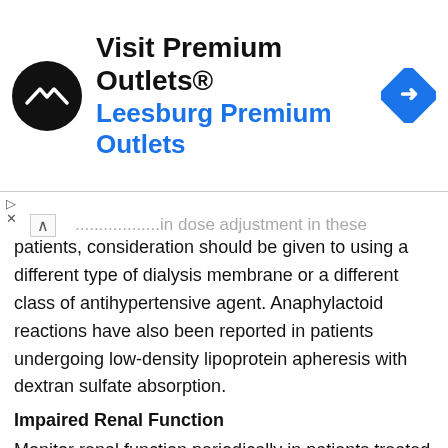[Figure (other): Advertisement banner for Visit Premium Outlets® / Leesburg Premium Outlets with logo and navigation arrow icon]
patients, consideration should be given to using a different type of dialysis membrane or a different class of antihypertensive agent. Anaphylactoid reactions have also been reported in patients undergoing low-density lipoprotein apheresis with dextran sulfate absorption.
Impaired Renal Function
Monitor renal function periodically in patients treated with Lisinopril Generic Health. Changes in renal function including acute renal failure can be caused by drugs that inhibit the renin-angiotensin system. Patients whose renal function may